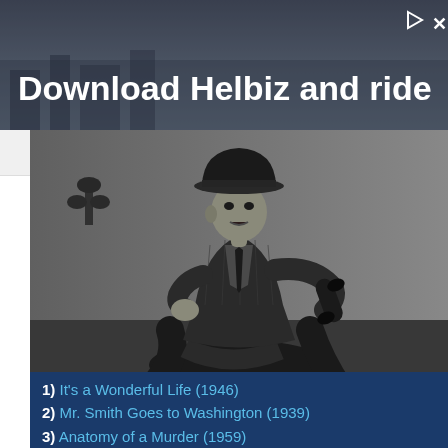[Figure (photo): Advertisement banner with text 'Download Helbiz and ride' on a dark background showing a person riding a scooter in a city]
[Figure (photo): Black and white photograph of a man wearing a fedora hat and suit, sitting cross-legged and holding a telephone receiver, gesturing with one hand]
1) It's a Wonderful Life (1946)
2) Mr. Smith Goes to Washington (1939)
3) Anatomy of a Murder (1959)